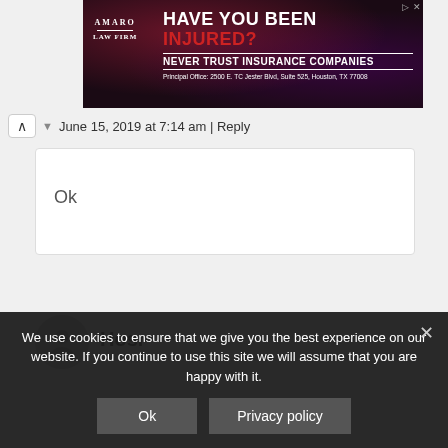[Figure (screenshot): Advertisement banner for Amaro Law Firm. Dark background with bokeh lights. Text reads 'HAVE YOU BEEN INJURED?' with 'INJURED?' in red, 'NEVER TRUST INSURANCE COMPANIES', and address 'Principal Office: 2500 E. TC Jester Blvd, Suite 525, Houston, TX 77008'. Logo on left shows 'AMARO LAW FIRM'.]
June 15, 2019 at 7:14 am | Reply
Ok
Hosr
We use cookies to ensure that we give you the best experience on our website. If you continue to use this site we will assume that you are happy with it.
Ok
Privacy policy